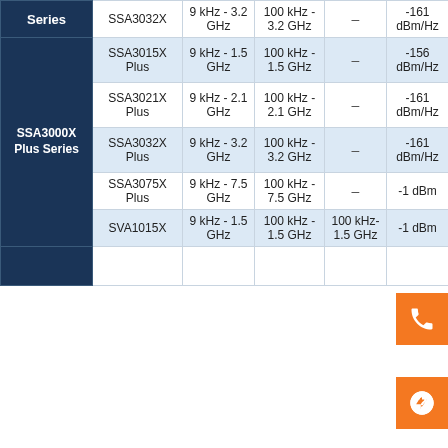| Series | Model | Frequency Range | Phase Noise | IMF | Noise Floor |  |
| --- | --- | --- | --- | --- | --- | --- |
|  | SSA3032X | 9 kHz - 3.2 GHz | 100 kHz - 3.2 GHz | – | -161 dBm/Hz |  |
| SSA3000X Plus Series | SSA3015X Plus | 9 kHz - 1.5 GHz | 100 kHz - 1.5 GHz | – | -156 dBm/Hz |  |
|  | SSA3021X Plus | 9 kHz - 2.1 GHz | 100 kHz - 2.1 GHz | – | -161 dBm/Hz |  |
|  | SSA3032X Plus | 9 kHz - 3.2 GHz | 100 kHz - 3.2 GHz | – | -161 dBm/Hz |  |
|  | SSA3075X Plus | 9 kHz - 7.5 GHz | 100 kHz - 7.5 GHz | – | -1... dBm/Hz |  |
|  | SVA1015X | 9 kHz - 1.5 GHz | 100 kHz - 1.5 GHz | 100 kHz- 1.5 GHz | -1... dBm/Hz |  |